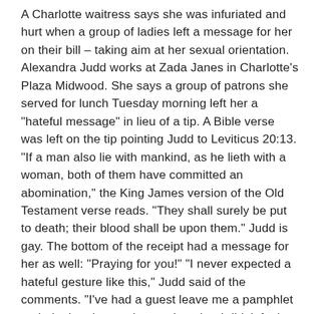A Charlotte waitress says she was infuriated and hurt when a group of ladies left a message for her on their bill – taking aim at her sexual orientation. Alexandra Judd works at Zada Janes in Charlotte's Plaza Midwood. She says a group of patrons she served for lunch Tuesday morning left her a "hateful message" in lieu of a tip. A Bible verse was left on the tip pointing Judd to Leviticus 20:13. "If a man also lie with mankind, as he lieth with a woman, both of them have committed an abomination," the King James version of the Old Testament verse reads. "They shall surely be put to death; their blood shall be upon them." Judd is gay. The bottom of the receipt had a message for her as well: "Praying for you!" "I never expected a hateful gesture like this," Judd said of the comments. "I've had a guest leave me a pamphlet to their church as a tip one time, but I didn't feel as if they were being hateful towards me. The ladies that came in were very rude, and would hardly talk to me – but I never expected this." She says she was infuriated and hurt by what she saw. "I've heard of people leaving fake money or writing funny stuff in the tip